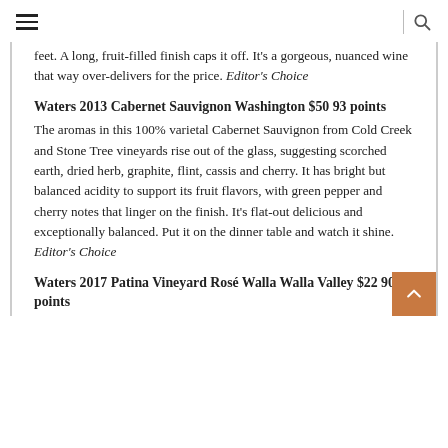≡  |  🔍
feet. A long, fruit-filled finish caps it off. It's a gorgeous, nuanced wine that way over-delivers for the price. Editor's Choice
Waters 2013 Cabernet Sauvignon Washington $50 93 points
The aromas in this 100% varietal Cabernet Sauvignon from Cold Creek and Stone Tree vineyards rise out of the glass, suggesting scorched earth, dried herb, graphite, flint, cassis and cherry. It has bright but balanced acidity to support its fruit flavors, with green pepper and cherry notes that linger on the finish. It's flat-out delicious and exceptionally balanced. Put it on the dinner table and watch it shine. Editor's Choice
Waters 2017 Patina Vineyard Rosé Walla Walla Valley $22 90 points